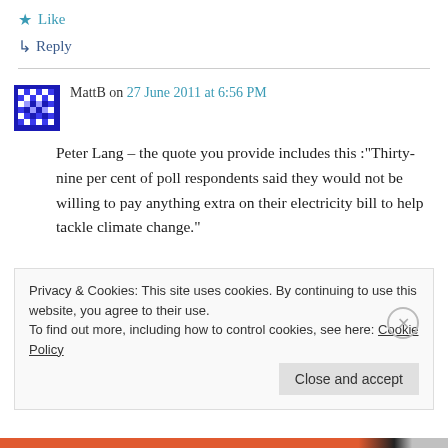★ Like
↳ Reply
MattB on 27 June 2011 at 6:56 PM
Peter Lang – the quote you provide includes this :"Thirty-nine per cent of poll respondents said they would not be willing to pay anything extra on their electricity bill to help tackle climate change."
Privacy & Cookies: This site uses cookies. By continuing to use this website, you agree to their use.
To find out more, including how to control cookies, see here: Cookie Policy
Close and accept